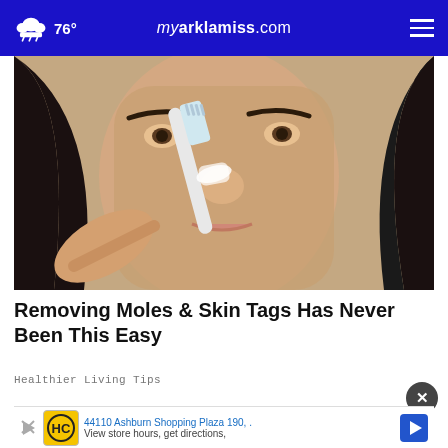76° myarklamiss.com
[Figure (photo): Close-up photo of a woman applying white substance to her nose with a toothbrush, looking at camera]
Removing Moles & Skin Tags Has Never Been This Easy
Healthier Living Tips
[Figure (photo): Partially visible second article image at bottom of page]
44110 Ashburn Shopping Plaza 190, .  View store hours, get directions,